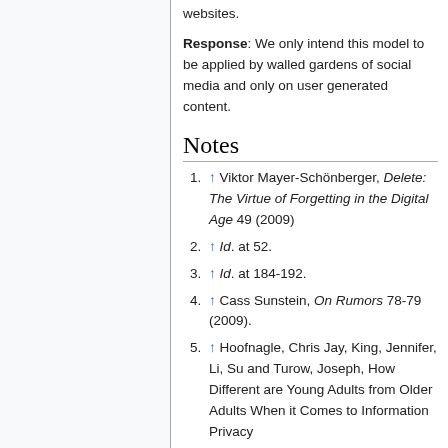websites.
Response: We only intend this model to be applied by walled gardens of social media and only on user generated content.
Notes
↑ Viktor Mayer-Schönberger, Delete: The Virtue of Forgetting in the Digital Age 49 (2009)
↑ Id. at 52.
↑ Id. at 184-192.
↑ Cass Sunstein, On Rumors 78-79 (2009).
↑ Hoofnagle, Chris Jay, King, Jennifer, Li, Su and Turow, Joseph, How Different are Young Adults from Older Adults When it Comes to Information Privacy